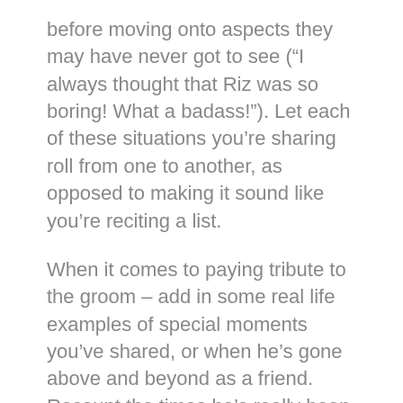before moving onto aspects they may have never got to see (“I always thought that Riz was so boring! What a badass!”). Let each of these situations you’re sharing roll from one to another, as opposed to making it sound like you’re reciting a list.
When it comes to paying tribute to the groom – add in some real life examples of special moments you’ve shared, or when he’s gone above and beyond as a friend. Recount the times he’s really been there for you, the massive difference he’s made to your life and how empty it’s become now that he’s found love. Maybe not that last bit. But the finale really is all about how much this guy means to. Leave the testosterone